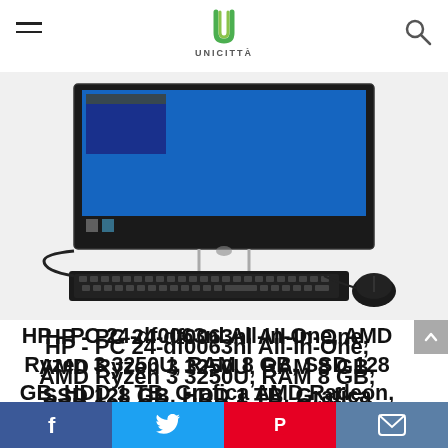UNICITTA
[Figure (photo): HP All-In-One desktop computer with keyboard and mouse on a white/light grey background]
HP - PC 24-df0063nl All-In-One, AMD Ryzen 3 3250U, RAM 8 GB, SSD 128 GB, HDD 1 TB, Grafica AMD Radeon, Windows 10 Home, Schermo 23.8" FHD